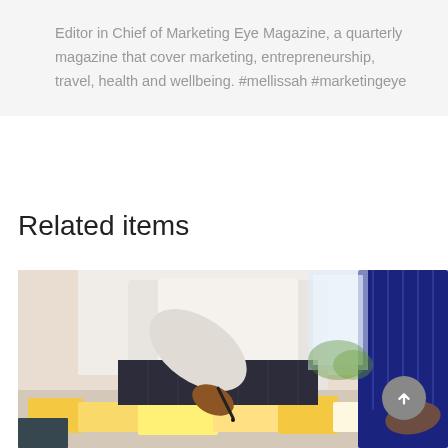Editor in Chief of Marketing Eye Magazine, a quarterly magazine that cover marketing, entrepreneurship, travel, health and wellbeing. #mellissah #marketingeye
Related items
[Figure (photo): Two business people leaning over a table covered with sticky notes and papers, one writing with a pen and the other with hand resting on the table, in a meeting or planning session.]